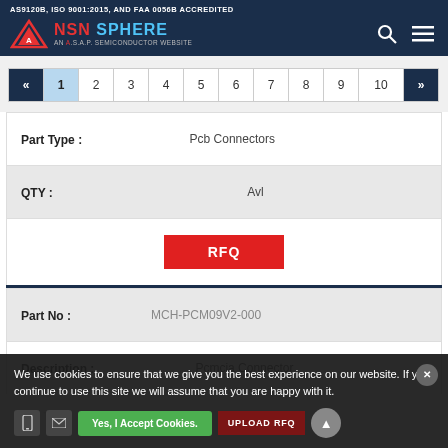AS9120B, ISO 9001:2015, AND FAA 0056B ACCREDITED
[Figure (logo): NSN Sphere logo - AN A.S.A.P. SEMICONDUCTOR WEBSITE]
« 1 2 3 4 5 6 7 8 9 10 »
| Field | Value |
| --- | --- |
| Part Type : | Pcb Connectors |
| QTY : | Avl |
|  | RFQ |
| Part No : | MCH-PCM09V2-000 |
| Description : | Pcmcia Connector |
We use cookies to ensure that we give you the best experience on our website. If you continue to use this site we will assume that you are happy with it.
Yes, I Accept Cookies.
UPLOAD RFQ